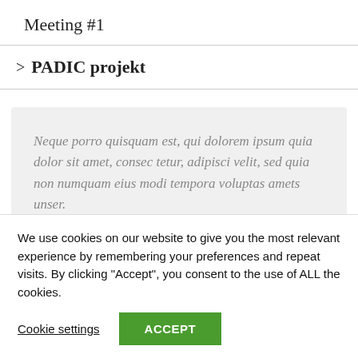Meeting #1
> PADIC projekt
Neque porro quisquam est, qui dolorem ipsum quia dolor sit amet, consec tetur, adipisci velit, sed quia non numquam eius modi tempora voluptas amets unser.
We use cookies on our website to give you the most relevant experience by remembering your preferences and repeat visits. By clicking "Accept", you consent to the use of ALL the cookies.
Cookie settings
ACCEPT